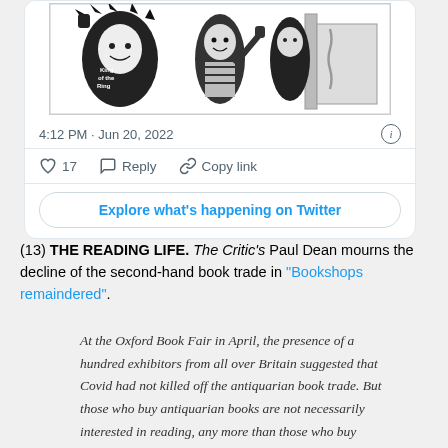[Figure (illustration): Black and white comic/illustration showing cartoon characters, one wearing a jacket with text 'King of the Ring']
4:12 PM · Jun 20, 2022
17  Reply  Copy link
Explore what's happening on Twitter
(13) THE READING LIFE. The Critic's Paul Dean mourns the decline of the second-hand book trade in "Bookshops remaindered".
At the Oxford Book Fair in April, the presence of a hundred exhibitors from all over Britain suggested that Covid had not killed off the antiquarian book trade. But those who buy antiquarian books are not necessarily interested in reading, any more than those who buy hundreds of cases of rare wines are interested in